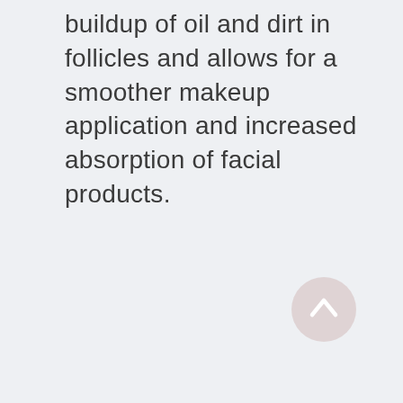buildup of oil and dirt in follicles and allows for a smoother makeup application and increased absorption of facial products.
[Figure (other): A circular back-to-top button with a pink/mauve background and a white upward-pointing chevron arrow.]